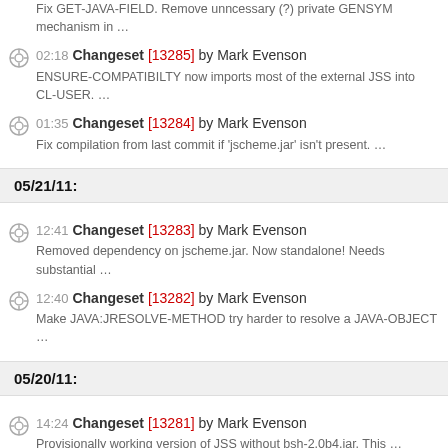Fix GET-JAVA-FIELD. Remove unncessary (?) private GENSYM mechanism in …
02:18 Changeset [13285] by Mark Evenson — ENSURE-COMPATIBILTY now imports most of the external JSS into CL-USER. …
01:35 Changeset [13284] by Mark Evenson — Fix compilation from last commit if 'jscheme.jar' isn't present. …
05/21/11:
12:41 Changeset [13283] by Mark Evenson — Removed dependency on jscheme.jar. Now standalone! Needs substantial …
12:40 Changeset [13282] by Mark Evenson — Make JAVA:JRESOLVE-METHOD try harder to resolve a JAVA-OBJECT …
05/20/11:
14:24 Changeset [13281] by Mark Evenson — Provisionally working version of JSS without bsh-2.0b4.jar. This …
14:24 Changeset [13280] by Mark Evenson — Import of JSS from <svn+http://lsw2.googlecode.com/svn/trunk>. An …
Changeset [13???] by Mark Evenson